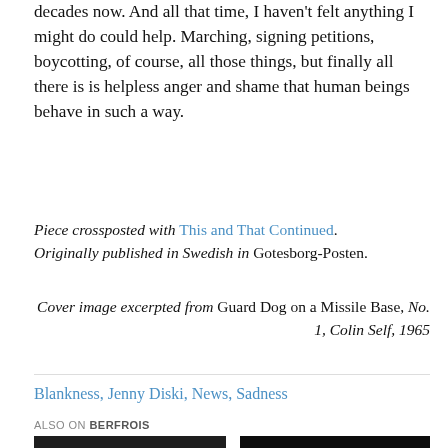decades now. And all that time, I haven't felt anything I might do could help. Marching, signing petitions, boycotting, of course, all those things, but finally all there is is helpless anger and shame that human beings behave in such a way.
Piece crossposted with This and That Continued. Originally published in Swedish in Gotesborg-Posten.
Cover image excerpted from Guard Dog on a Missile Base, No. 1, Colin Self, 1965
Blankness, Jenny Diski, News, Sadness
ALSO ON BERFROIS
[Figure (photo): Two thumbnail images side by side, partially visible at bottom of page. Left image shows a person, right image shows a dark scene.]